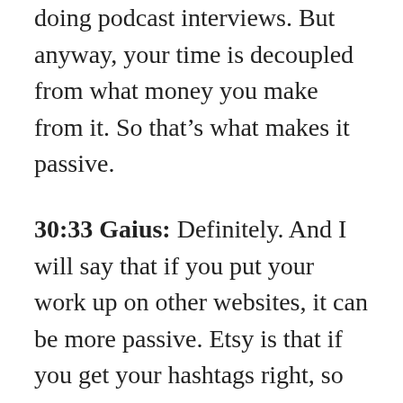doing podcast interviews. But anyway, your time is decoupled from what money you make from it. So that’s what makes it passive.
30:33 Gaius: Definitely. And I will say that if you put your work up on other websites, it can be more passive. Etsy is that if you get your hashtags right, so there’s some up front work as usual, but if you get your hashtags right, you really figure out the game on Etsy, you can do pretty passive income. As soon as you move into a realm where like you said, you have to drive traffic, then it becomes less